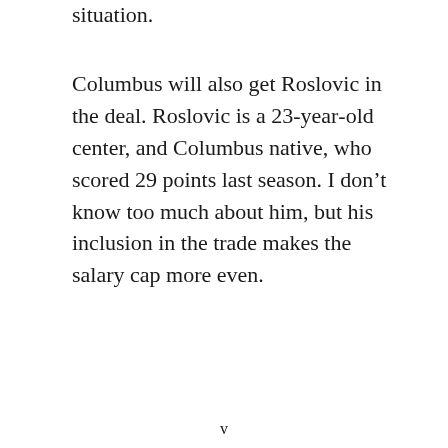situation.
Columbus will also get Roslovic in the deal. Roslovic is a 23-year-old center, and Columbus native, who scored 29 points last season. I don't know too much about him, but his inclusion in the trade makes the salary cap more even.
v